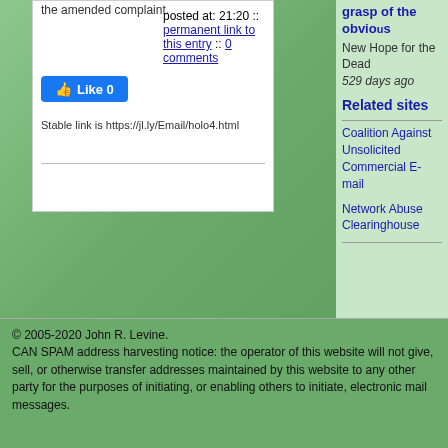the amended complaint.
posted at: 21:20 :: permanent link to this entry :: 0 comments
[Figure (other): Facebook Like button showing 0 likes]
Stable link is https://jl.ly/Email/holo4.html
grasp of the obvious
New Hope for the Dead
529 days ago
Related sites
Coalition Against Unsolicited Commercial E-mail
Network Abuse Clearinghouse
© 2005-2020 John R. Levine.
CAN SPAM address harvesting notice: the operator of this website will not give, sell, or otherwise transfer addresses maintained by this website to any other party for the purposes of initiating, or enabling others to initiate, electronic mail messages.